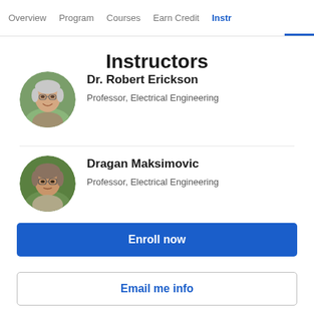Overview  Program  Courses  Earn Credit  Instr
Instructors
[Figure (photo): Circular headshot of Dr. Robert Erickson, older man with glasses, grey hair, green outdoor background]
Dr. Robert Erickson
Professor, Electrical Engineering
[Figure (photo): Circular headshot of Dragan Maksimovic, man with glasses, grey-brown hair, outdoor background]
Dragan Maksimovic
Professor, Electrical Engineering
Enroll now
Email me info